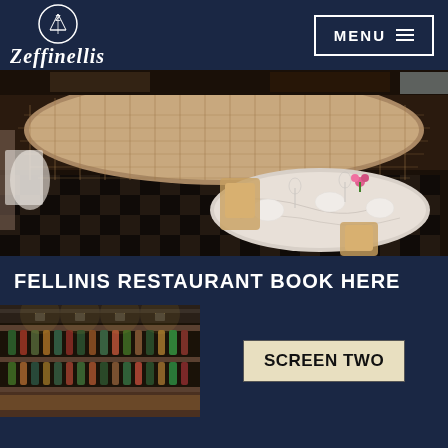Zeffinellis / MENU
[Figure (photo): Interior of Fellinis Restaurant showing round wicker booth seating, marble tables set with white napkins, glassware and pink flowers, checkered carpet flooring]
FELLINIS RESTAURANT BOOK HERE
[Figure (photo): Cinema interior on left showing bar/shelving, and a sign reading SCREEN TWO on the right against dark background]